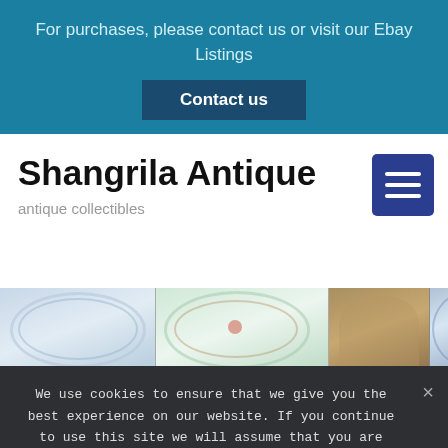For purchases, please contact us or visit our Ebay Listings
Contact us
Shangrila Antique
antique collectibles
[Figure (photo): Strip of antique collectible plates and figurines including blue and white porcelain plates, green floral plates, and a ceramic figurine]
We use cookies to ensure that we give you the best experience on our website. If you continue to use this site we will assume that you are happy with it.
Ok